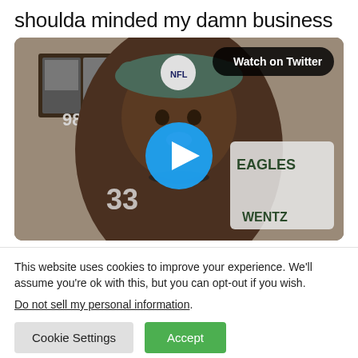shoulda minded my damn business
[Figure (screenshot): Video thumbnail of a person wearing an NFL Eagles hat and jersey with a blue play button overlay and a 'Watch on Twitter' badge in the upper right corner.]
This website uses cookies to improve your experience. We'll assume you're ok with this, but you can opt-out if you wish.
Do not sell my personal information.
Cookie Settings  Accept